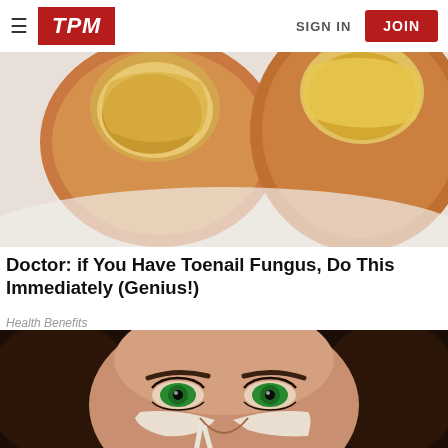TPM | SIGN IN | JOIN
[Figure (illustration): Close-up illustration of toenails affected by fungus – discolored, thick, yellow-brown nails on toes resting on white surface]
Doctor: if You Have Toenail Fungus, Do This Immediately (Genius!)
Health Benefits
[Figure (photo): Close-up photo of a woman with green eyes and dark hair, with white cream applied under her eyes near her nose]